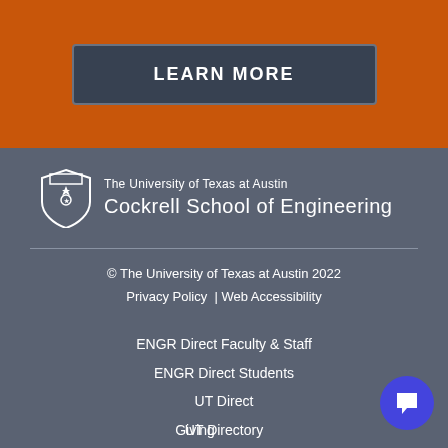[Figure (screenshot): Orange banner section with a 'LEARN MORE' button in dark gray/slate color with white bold uppercase text]
[Figure (logo): The University of Texas at Austin Cockrell School of Engineering logo with shield emblem]
© The University of Texas at Austin 2022
Privacy Policy  | Web Accessibility
ENGR Direct Faculty & Staff
ENGR Direct Students
UT Direct
UT Directory
Giving